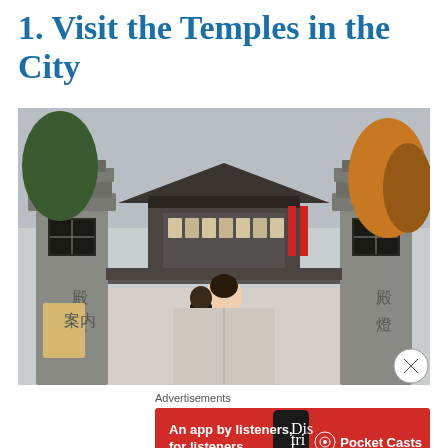1. Visit the Temples in the City
[Figure (photo): A woman in a beige coat and yellow scarf standing at the entrance gate of a Japanese temple courtyard, flanked by traditional stone lantern pillars with Japanese characters. Autumn trees and prayer plaques are visible in the background.]
Advertisements
[Figure (other): Advertisement banner for Pocket Casts app. Red background with white text 'An app by listeners, for listeners.' and Pocket Casts logo on the right. A phone showing app content is visible in the center-right.]